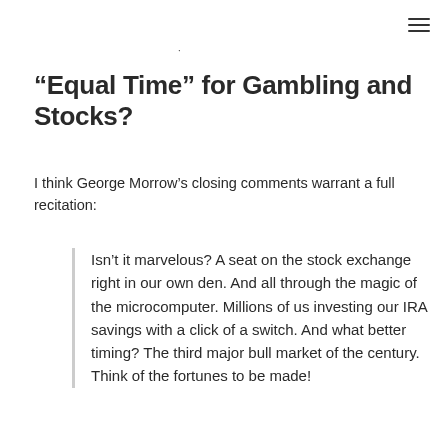“Equal Time” for Gambling and Stocks?
I think George Morrow’s closing comments warrant a full recitation:
Isn’t it marvelous? A seat on the stock exchange right in our own den. And all through the magic of the microcomputer. Millions of us investing our IRA savings with a click of a switch. And what better timing? The third major bull market of the century. Think of the fortunes to be made!